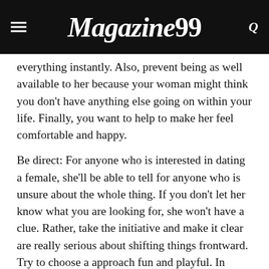Magazine99
everything instantly. Also, prevent being as well available to her because your woman might think you don't have anything else going on within your life. Finally, you want to help to make her feel comfortable and happy.
Be direct: For anyone who is interested in dating a female, she'll be able to tell for anyone who is unsure about the whole thing. If you don't let her know what you are looking for, she won't have a clue. Rather, take the initiative and make it clear are really serious about shifting things frontward. Try to choose a approach fun and playful. In cases where she doesn't